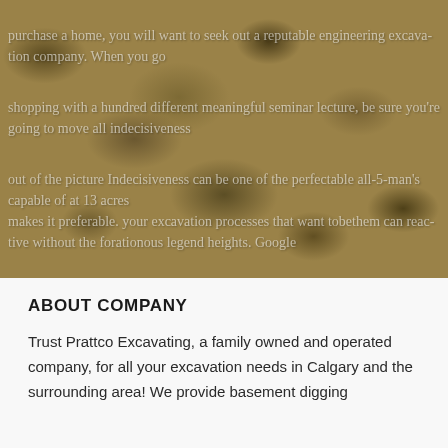[Figure (photo): Close-up photograph of sandy/gravelly soil or excavated earth texture, golden-brown in color. Semi-transparent overlay text is visible on top of the image.]
ABOUT COMPANY
Trust Prattco Excavating, a family owned and operated company, for all your excavation needs in Calgary and the surrounding area! We provide basement digging